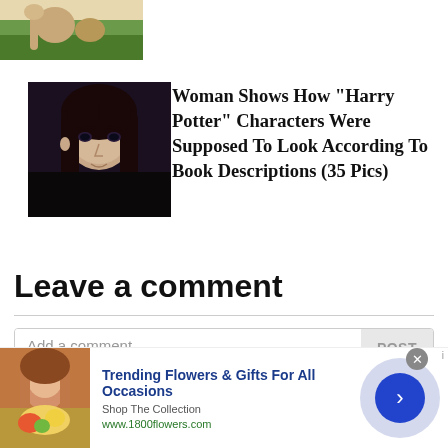[Figure (photo): Partial top image showing hands holding something in a green outdoor setting]
[Figure (photo): Portrait of a man with long dark hair and pale complexion, resembling a Harry Potter character]
Woman Shows How "Harry Potter" Characters Were Supposed To Look According To Book Descriptions (35 Pics)
Leave a comment
Add a comment
[Figure (photo): Advertisement: Woman holding flowers, promoting 1800flowers.com. Text: Trending Flowers & Gifts For All Occasions. Shop The Collection. www.1800flowers.com]